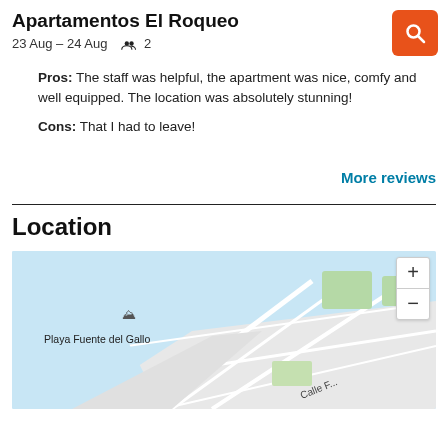Apartamentos El Roqueo
23 Aug – 24 Aug   2
Pros: The staff was helpful, the apartment was nice, comfy and well equipped. The location was absolutely stunning!
Cons: That I had to leave!
More reviews
Location
[Figure (map): Map showing location near Playa Fuente del Gallo with streets and Calle F... label visible. Zoom in/out controls visible.]